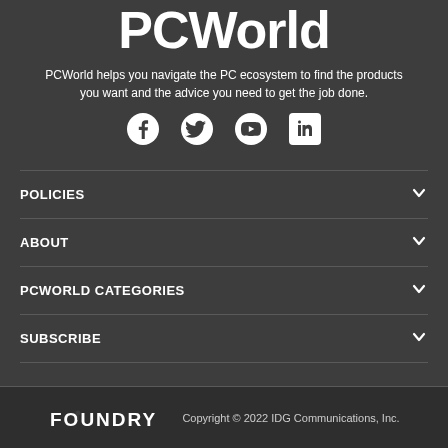PCWorld
PCWorld helps you navigate the PC ecosystem to find the products you want and the advice you need to get the job done.
[Figure (infographic): Social media icons: Facebook, Twitter, YouTube, LinkedIn]
POLICIES
ABOUT
PCWORLD CATEGORIES
SUBSCRIBE
FOUNDRY  Copyright © 2022 IDG Communications, Inc.